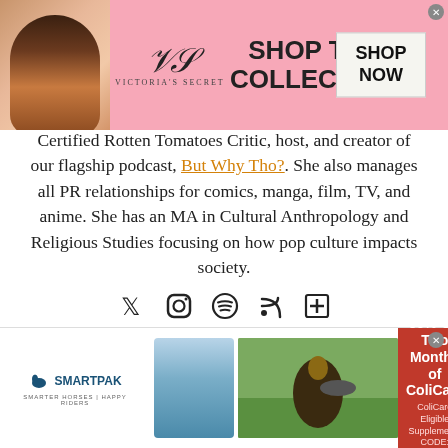[Figure (other): Victoria's Secret advertisement banner with model, VS logo, 'SHOP THE COLLECTION' text, and 'SHOP NOW' button]
Certified Rotten Tomatoes Critic, host, and creator of our flagship podcast, But Why Tho?. She also manages all PR relationships for comics, manga, film, TV, and anime. She has an MA in Cultural Anthropology and Religious Studies focusing on how pop culture impacts society.
[Figure (other): Social media icons row: Twitter, Instagram, Spotify, RSS, and plus/add icon]
Share this:
Privacy & Cookies: This site uses cookies. By continuing to use this website,
[Figure (other): SmartPak advertisement banner: logo, horse supplement product image, horse with rider photo, '50% Off Two Months of ColiCare, ColiCare Eligible Supplements, CODE: COLICARE10', 'Shop Now' button]